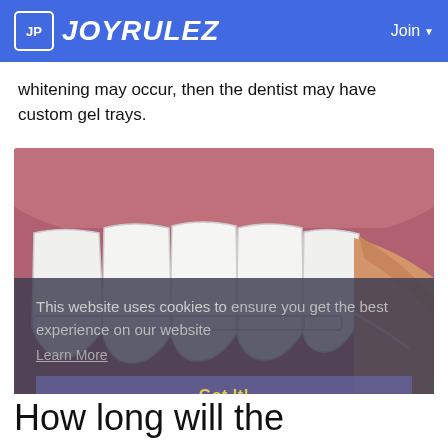JOYRULEZ  Join
whitening may occur, then the dentist may have custom gel trays.
[Figure (illustration): Close-up illustration of upper front teeth (incisors) with gum tissue, showing white teeth and a dental tool or tray being applied to the right side.]
This website uses cookies to ensure you get the best experience on our website
Learn More
Got It!
How long will the